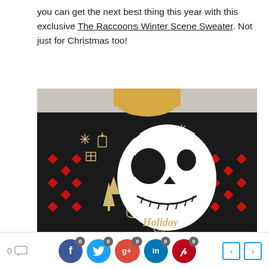you can get the next best thing this year with this exclusive The Raccoons Winter Scene Sweater. Not just for Christmas too!
[Figure (photo): Person wearing a black Christmas/Halloween crossover sweater featuring a large Jack Skellington skull face on the front, surrounded by holiday motifs (snowflakes, Christmas trees, tombstones, RIP markers) and red Nordic cross patterns on the sleeves. Text on sweater reads 'Holiday Scare'. Model is blonde with head cropped out of top of frame.]
0 [comment icon] | f 0 | [twitter] 0 | g+ 0 | in 0 | p 0 | < | >